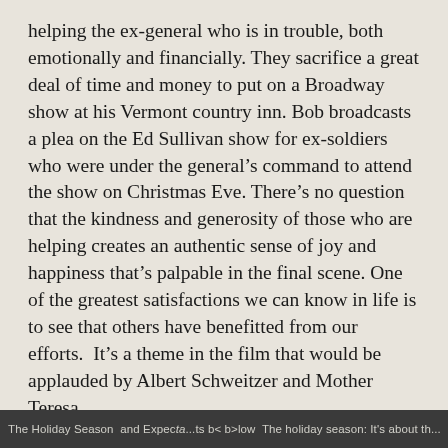helping the ex-general who is in trouble, both emotionally and financially. They sacrifice a great deal of time and money to put on a Broadway show at his Vermont country inn. Bob broadcasts a plea on the Ed Sullivan show for ex-soldiers who were under the general's command to attend the show on Christmas Eve. There's no question that the kindness and generosity of those who are helping creates an authentic sense of joy and happiness that's palpable in the final scene. One of the greatest satisfactions we can know in life is to see that others have benefitted from our efforts.  It's a theme in the film that would be applauded by Albert Schweitzer and Mother Teresa.
White Christmas is a holiday film that was created to entertain. But beneath the music and humor there are some wonderful life lessons to be learned. If you know the movie and you have a "lesson" you'd like to add,
The Holiday Season  and Expecla...ts b< b>lowThe holiday season: It's about th...